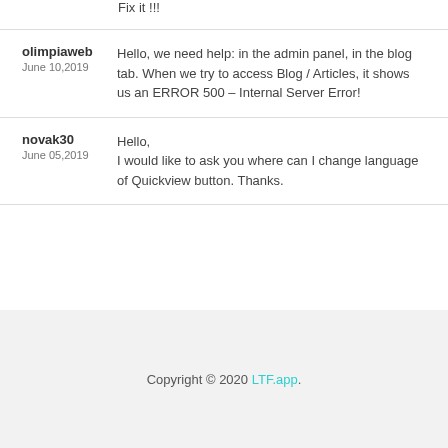Fix it !!!
olimpiaweb
June 10,2019
Hello, we need help: in the admin panel, in the blog tab. When we try to access Blog / Articles, it shows us an ERROR 500 – Internal Server Error!
novak30
June 05,2019
Hello,
I would like to ask you where can I change language of Quickview button. Thanks.
Copyright © 2020 LTF.app.